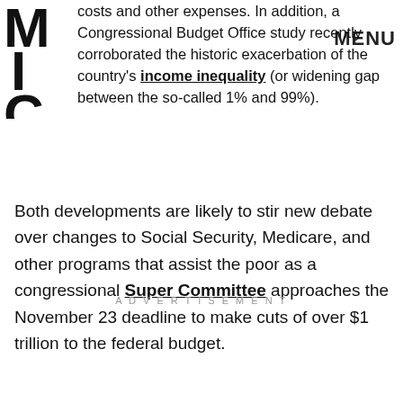MIC (logo) | MENU
costs and other expenses. In addition, a Congressional Budget Office study recently corroborated the historic exacerbation of the country's income inequality (or widening gap between the so-called 1% and 99%). Both developments are likely to stir new debate over changes to Social Security, Medicare, and other programs that assist the poor as a congressional Super Committee approaches the November 23 deadline to make cuts of over $1 trillion to the federal budget.
ADVERTISEMENT